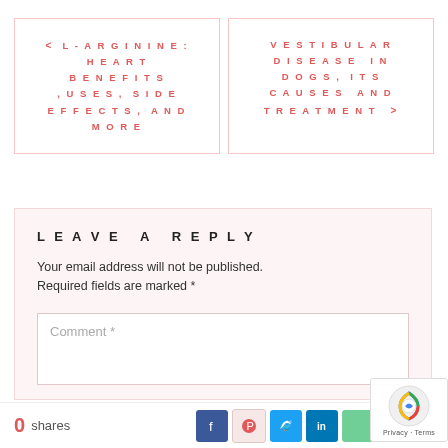< L-ARGININE: HEART BENEFITS ,USES, SIDE EFFECTS, AND MORE
VESTIBULAR DISEASE IN DOGS, ITS CAUSES AND TREATMENT >
LEAVE A REPLY
Your email address will not be published. Required fields are marked *
Comment *
0 shares